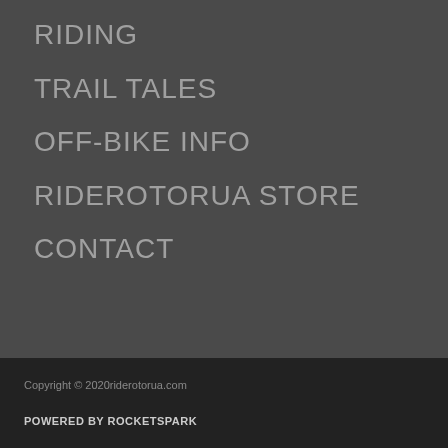RIDING
TRAIL TALES
OFF-BIKE INFO
RIDEROTORUA STORE
CONTACT
Copyright © 2020riderotorua.com
POWERED BY ROCKETSPARK